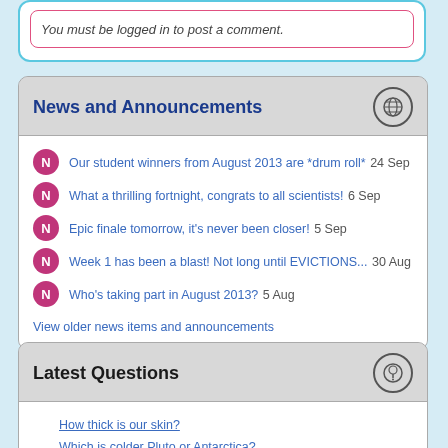You must be logged in to post a comment.
News and Announcements
Our student winners from August 2013 are *drum roll* 24 Sep
What a thrilling fortnight, congrats to all scientists! 6 Sep
Epic finale tomorrow, it's never been closer! 5 Sep
Week 1 has been a blast! Not long until EVICTIONS... 30 Aug
Who's taking part in August 2013? 5 Aug
View older news items and announcements
Latest Questions
How thick is our skin?
Which is colder Pluto or Antarctica?